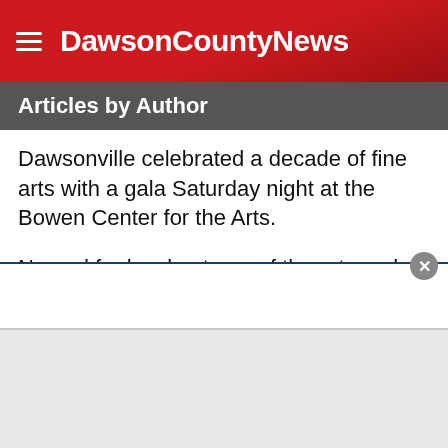DawsonCountyNews
Articles by Author
Dawsonville celebrated a decade of fine arts with a gala Saturday night at the Bowen Center for the Arts.
Named for local patrons of the arts and dedicated community stewards Ralph and Ludy Bowen, the center’s first exhibit opened Oct. 1, 2000.
During the gala, an exhibit showcasing the Best of the Bowen was on display to mark the center’s 10th anniversary